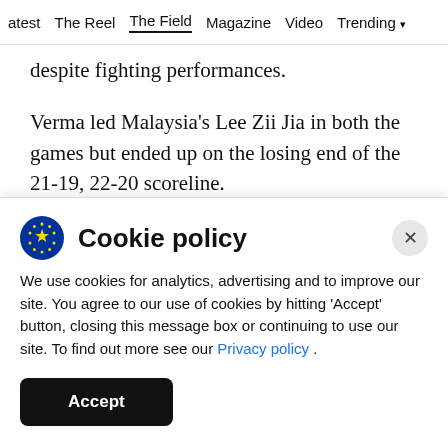latest  The Reel  The Field  Magazine  Video  Trending
despite fighting performances.
Verma led Malaysia's Lee Zii Jia in both the games but ended up on the losing end of the 21-19, 22-20 scoreline.
Prannoy was up against world champion and world No 1 Kento Momota in the men's singles second
Cookie policy
We use cookies for analytics, advertising and to improve our site. You agree to our use of cookies by hitting 'Accept' button, closing this message box or continuing to use our site. To find out more see our Privacy policy .
Accept